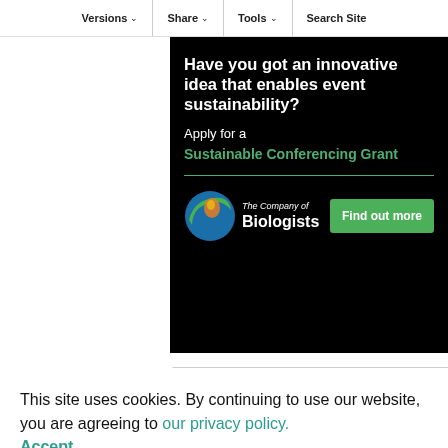Versions  Share  Tools  Search Site
[Figure (illustration): Black background advertisement banner for The Company of Biologists Sustainable Conferencing Grant. White bold text reads 'Have you got an innovative idea that enables event sustainability?' followed by 'Apply for a' and green bold text 'Sustainable Conferencing Grant'. A green horizontal divider line, then a colorful globe-like logo for The Company of Biologists on the left and a green 'Find out more' button on the right.]
Email alerts
This site uses cookies. By continuing to use our website, you are agreeing to our privacy policy.
Accept